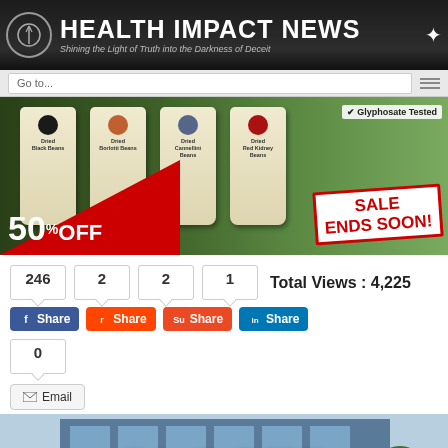HEALTH IMPACT NEWS — Shining the Light of Truth into the Darkness of Deceit
[Figure (screenshot): Navigation bar with 'Go to...' input and hamburger menu icon]
[Figure (photo): Advertisement banner showing dried beans bags (Black Beans, Borlotti Beans, Cannellini Beans, Red Kidney Beans) with 50% OFF red triangle and SALE ENDS SOON stamp, Glyphosate Tested label]
246  2  2  1   Total Views : 4,225
[Figure (screenshot): Social sharing buttons: Facebook Share (246), Reddit Share (2), StumbleUpon Share (2), LinkedIn Share (1), Email button (0 shares). Total Views: 4,225]
[Figure (photo): Building exterior with large red CLOSED text overlay]